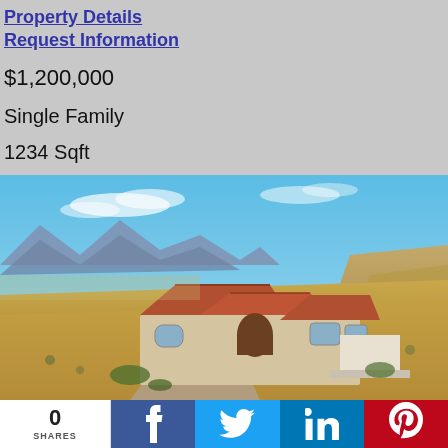Property Details
Request Information
$1,200,000
Single Family
1234 Sqft
[Figure (photo): Aerial view of a large single-family home with terracotta tile roof in a desert setting with mountains in the background]
0 SHARES
[Figure (infographic): Social share bar with Facebook, Twitter, LinkedIn, and Pinterest buttons]